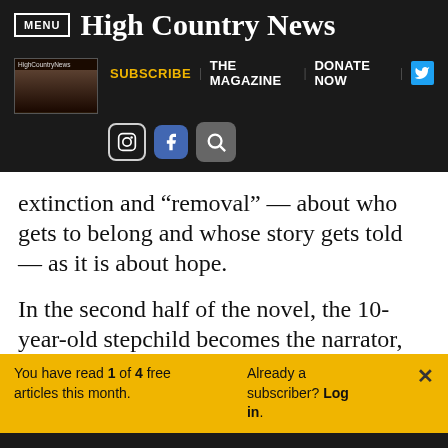MENU | High Country News
[Figure (screenshot): High Country News website sub-navigation bar with thumbnail image, Subscribe, The Magazine, Donate Now links, Twitter button, Instagram icon, Facebook icon, and search icon]
extinction and “removal” — about who gets to belong and whose story gets told — as it is about hope.
In the second half of the novel, the 10-year-old stepchild becomes the narrator,
You have read 1 of 4 free articles this month. Already a subscriber? Log in.
Support independent journalism. Subscribe